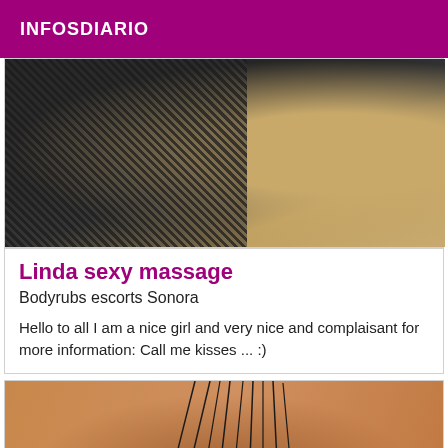INFOSDIARIO
[Figure (photo): Close-up photo showing black lace fabric on left side and a warm-toned smooth surface on right side]
Linda sexy massage
Bodyrubs escorts Sonora
Hello to all I am a nice girl and very nice and complaisant for more information: Call me kisses ... :)
[Figure (photo): Close-up photo of skin-toned surface with dark hair-like lines and white lace fabric visible at bottom center]